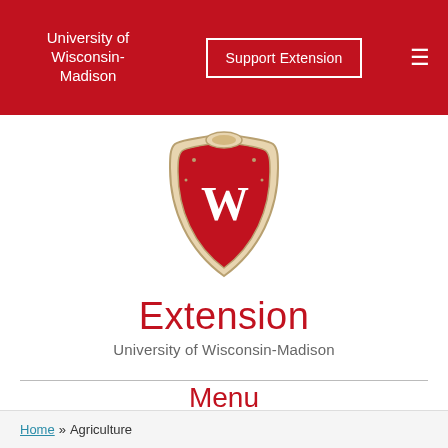University of Wisconsin-Madison | Support Extension | ☰
[Figure (logo): University of Wisconsin-Madison crest/seal — ornate shield with W on red background]
Extension
University of Wisconsin-Madison
Menu
Search
Home » Agriculture